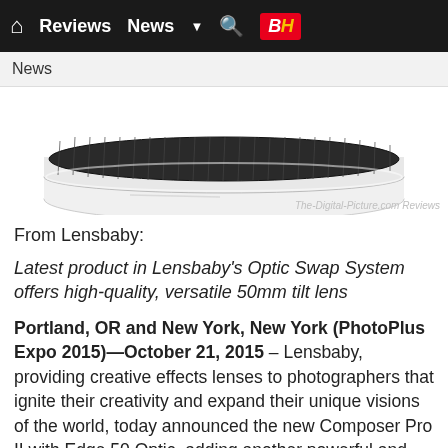🏠 Reviews News ▼ 🔍 B&H
News
[Figure (photo): Close-up top view of a Lensbaby camera lens adapter/mount showing a dark ribbed ring and white body, with watermark 'The-Digital-Picture.com Reviews']
From Lensbaby:
Latest product in Lensbaby's Optic Swap System offers high-quality, versatile 50mm tilt lens
Portland, OR and New York, New York (PhotoPlus Expo 2015)—October 21, 2015 – Lensbaby, providing creative effects lenses to photographers that ignite their creativity and expand their unique visions of the world, today announced the new Composer Pro II with Edge 50 Optic, adding another powerful and creative tool to their Optic Swap